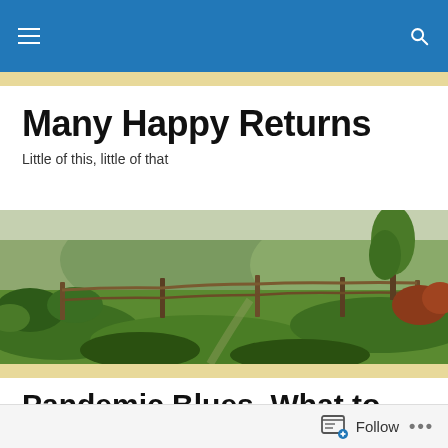Many Happy Returns – navigation bar
Many Happy Returns
Little of this, little of that
[Figure (photo): Panoramic landscape photo of a wooden split-rail fence running across green fields and meadows with trees and shrubs, photographed in warm autumn light.]
Pandemic Blues, What to Do, Part Two
If you're experiencing True Depression, where you can't
Follow  •••